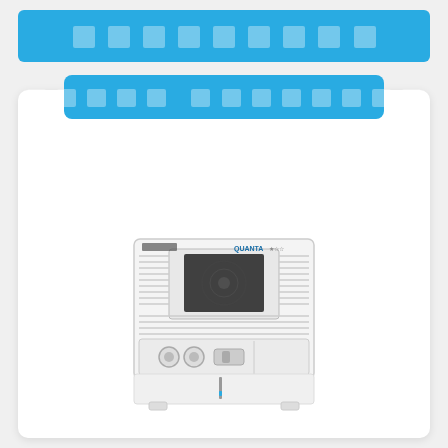[redacted header text]
[redacted product category title]
[Figure (photo): Front view of a white Usha Quanta window/room air cooler with horizontal grille slats, black fan visible behind the grille, two circular knobs on the front, and a water level indicator on the lower panel.]